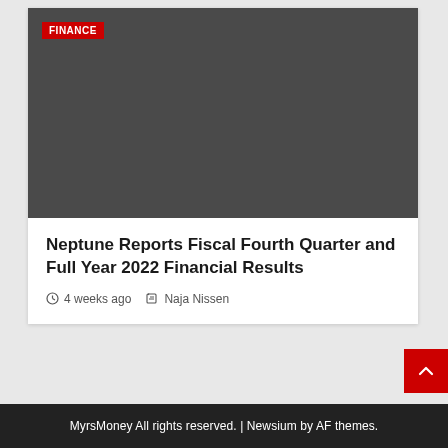[Figure (photo): Dark gray placeholder image area for article thumbnail with a red FINANCE category badge in the top-left corner]
Neptune Reports Fiscal Fourth Quarter and Full Year 2022 Financial Results
4 weeks ago   Naja Nissen
MyrsMoney All rights reserved. | Newsium by AF themes.